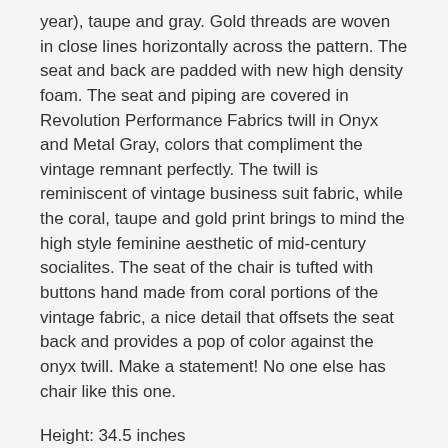year), taupe and gray. Gold threads are woven in close lines horizontally across the pattern. The seat and back are padded with new high density foam. The seat and piping are covered in Revolution Performance Fabrics twill in Onyx and Metal Gray, colors that compliment the vintage remnant perfectly. The twill is reminiscent of vintage business suit fabric, while the coral, taupe and gold print brings to mind the high style feminine aesthetic of mid-century socialites. The seat of the chair is tufted with buttons hand made from coral portions of the vintage fabric, a nice detail that offsets the seat back and provides a pop of color against the onyx twill. Make a statement! No one else has chair like this one.
Height: 34.5 inches
Width: 20 inches
Depth: 24 inches
Seat Height: 19 inches
Weight: Approximately 23 lbs.
Price: $285
Stock: Only One Available